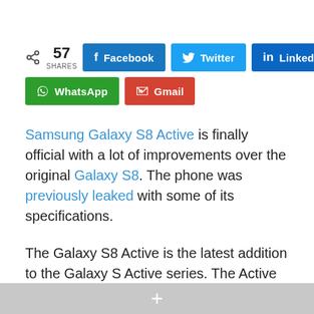[Figure (other): Social share bar with 57 shares count and buttons: Facebook, Twitter, LinkedIn, WhatsApp, Gmail]
Samsung Galaxy S8 Active is finally official with a lot of improvements over the original Galaxy S8. The phone was previously leaked with some of its specifications.
The Galaxy S8 Active is the latest addition to the Galaxy S Active series. The Active series is for the people who use the phone very roughly as the phones in this series come with a lot of
+